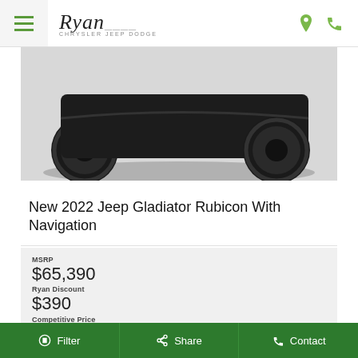Ryan Chrysler Jeep Dodge
[Figure (photo): Partial view of a black Jeep Gladiator truck undercarriage and wheel on a grey background]
New 2022 Jeep Gladiator Rubicon With Navigation
MSRP
$65,390
Ryan Discount
$390
Competitive Price
$65,000
Bonus Cash 22CNA
$1,000
Final price
$64,000
Filter | Share | Contact